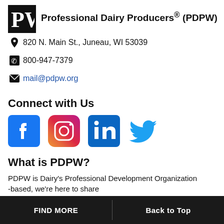[Figure (logo): PW logo — black square with white serif letters PW]
Professional Dairy Producers® (PDPW)
820 N. Main St., Juneau, WI 53039
800-947-7379
mail@pdpw.org
Connect with Us
[Figure (illustration): Social media icons: Facebook, Instagram, LinkedIn, Twitter]
What is PDPW?
PDPW is Dairy's Professional Development Organization -based, we're here to share
FIND MORE   Back to Top